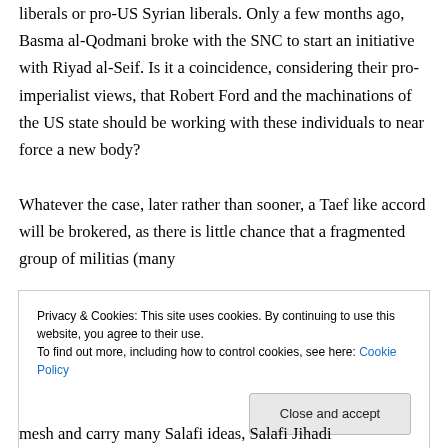liberals or pro-US Syrian liberals. Only a few months ago, Basma al-Qodmani broke with the SNC to start an initiative with Riyad al-Seif. Is it a coincidence, considering their pro-imperialist views, that Robert Ford and the machinations of the US state should be working with these individuals to near force a new body?
Whatever the case, later rather than sooner, a Taef like accord will be brokered, as there is little chance that a fragmented group of militias (many
Privacy & Cookies: This site uses cookies. By continuing to use this website, you agree to their use.
To find out more, including how to control cookies, see here: Cookie Policy
mesh and carry many Salafi ideas, Salafi Jihadi